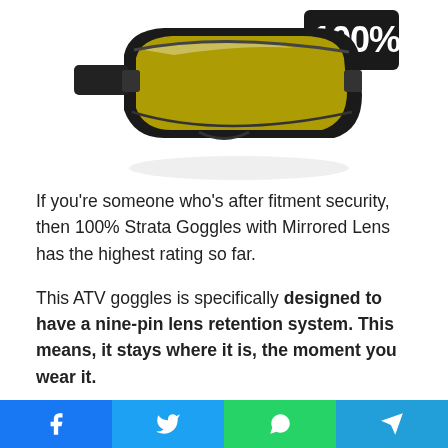[Figure (photo): 100% Strata Goggles with Mirrored Lens - black frame with gold mirror lens, shown from front-top angle. The white '100%' logo is visible on the strap.]
If you’re someone who’s after fitment security, then 100% Strata Goggles with Mirrored Lens has the highest rating so far.
This ATV goggles is specifically designed to have a nine-pin lens retention system. This means, it stays where it is, the moment you wear it.
[Figure (infographic): Social media share bar with four buttons: Facebook (blue), Twitter (light blue), WhatsApp (green), Telegram (blue)]